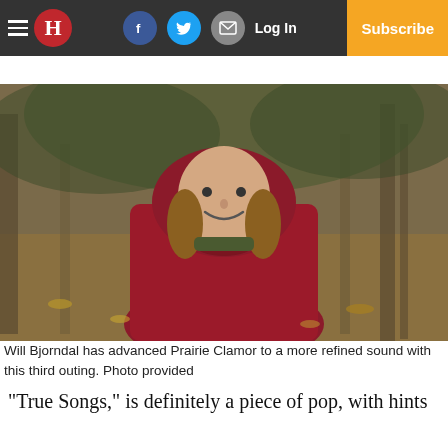H | Log In | Subscribe
[Figure (photo): Person wearing a red hoodie smiling in a wooded outdoor setting with autumn leaves on the ground.]
Will Bjorndal has advanced Prairie Clamor to a more refined sound with this third outing. Photo provided
“True Songs,” is definitely a piece of pop, with hints